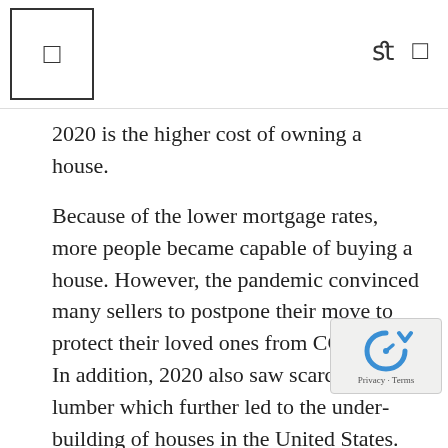[logo icon] [search icon] [menu icon]
2020 is the higher cost of owning a house.
Because of the lower mortgage rates, more people became capable of buying a house. However, the pandemic convinced many sellers to postpone their move to protect their loved ones from COVID-19. In addition, 2020 also saw scarcity of lumber which further led to the under-building of houses in the United States.
These factors created a housing shortage that has not been seen for decades. As the law of supply and demand dictates, the median home-sale price increased significantly. One report revealed that nearly half of all homes sold for more than the price listed.
Moreover, because of the shortage, properties were st... in the market for an average of 23 days, the shortest time